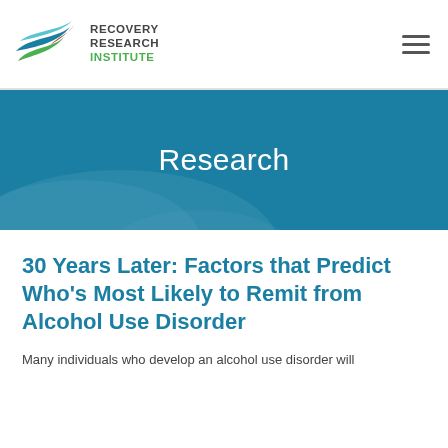Recovery Research Institute
Research
30 Years Later: Factors that Predict Who's Most Likely to Remit from Alcohol Use Disorder
Many individuals who develop an alcohol use disorder will